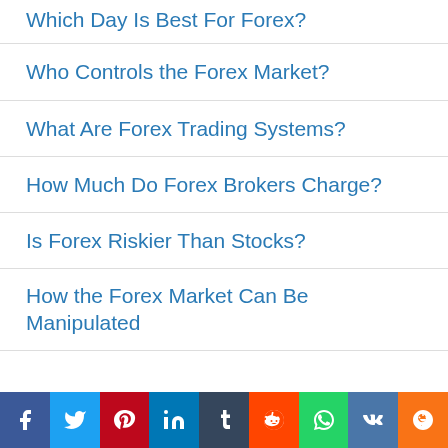Which Day Is Best For Forex?
Who Controls the Forex Market?
What Are Forex Trading Systems?
How Much Do Forex Brokers Charge?
Is Forex Riskier Than Stocks?
How the Forex Market Can Be Manipulated
[Figure (screenshot): Social sharing bar with icons for Facebook, Twitter, Pinterest, LinkedIn, Tumblr, Reddit, WhatsApp, VK, and Mail]